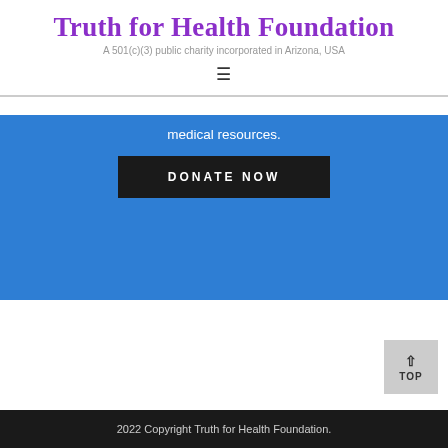Truth for Health Foundation
A 501(c)(3) public charity incorporated in Arizona, USA
medical resources.
DONATE NOW
TOP
2022 Copyright Truth for Health Foundation.